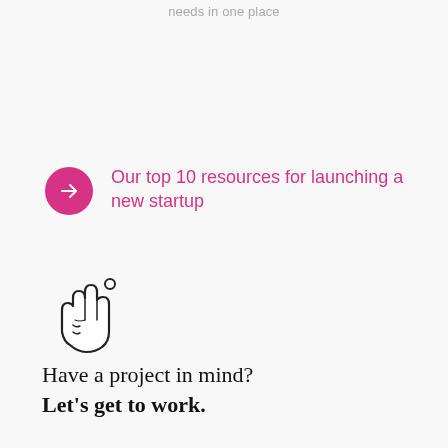needs in one place
Our top 10 resources for launching a new startup
[Figure (illustration): Hand gesture icon showing two fingers raised (peace/victory sign) with a small circle/dot, drawn in black outline style]
Have a project in mind?
Let's get to work.